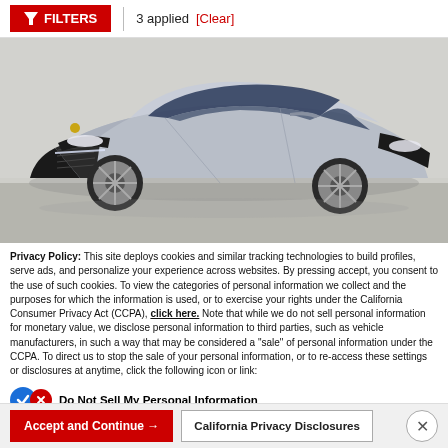FILTERS | 3 applied [Clear]
[Figure (photo): Silver Porsche Macan SUV photographed in a dealership showroom against a white/grey background, three-quarter front view showing the front grille, headlights, Porsche logo, and alloy wheels.]
Privacy Policy: This site deploys cookies and similar tracking technologies to build profiles, serve ads, and personalize your experience across websites. By pressing accept, you consent to the use of such cookies. To view the categories of personal information we collect and the purposes for which the information is used, or to exercise your rights under the California Consumer Privacy Act (CCPA), click here. Note that while we do not sell personal information for monetary value, we disclose personal information to third parties, such as vehicle manufacturers, in such a way that may be considered a "sale" of personal information under the CCPA. To direct us to stop the sale of your personal information, or to re-access these settings or disclosures at anytime, click the following icon or link:
Do Not Sell My Personal Information
Language: English
Powered by ComplyAuto
Accept and Continue →
California Privacy Disclosures